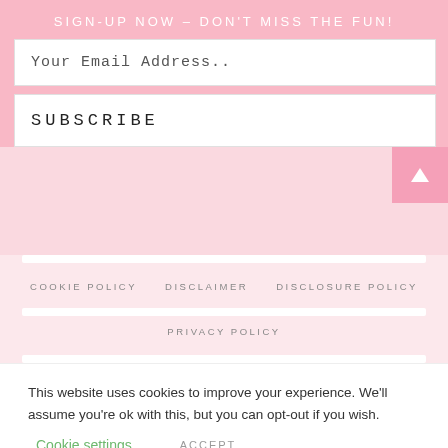SIGN-UP NOW – DON'T MISS THE FUN!
Your Email Address..
SUBSCRIBE
COOKIE POLICY
DISCLAIMER
DISCLOSURE POLICY
PRIVACY POLICY
This website uses cookies to improve your experience. We'll assume you're ok with this, but you can opt-out if you wish.
Cookie settings
ACCEPT